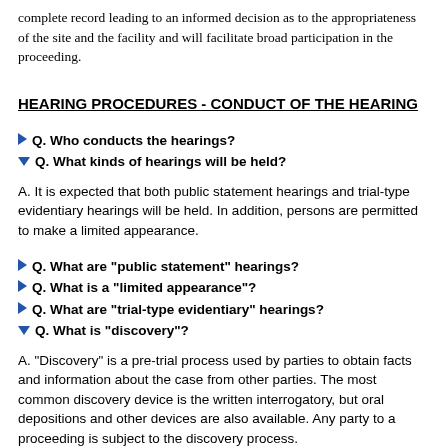complete record leading to an informed decision as to the appropriateness of the site and the facility and will facilitate broad participation in the proceeding.
HEARING PROCEDURES - CONDUCT OF THE HEARING
Q. Who conducts the hearings?
Q. What kinds of hearings will be held?
A. It is expected that both public statement hearings and trial-type evidentiary hearings will be held. In addition, persons are permitted to make a limited appearance.
Q. What are "public statement" hearings?
Q. What is a "limited appearance"?
Q. What are "trial-type evidentiary" hearings?
Q. What is "discovery"?
A. "Discovery" is a pre-trial process used by parties to obtain facts and information about the case from other parties. The most common discovery device is the written interrogatory, but oral depositions and other devices are also available. Any party to a proceeding is subject to the discovery process.